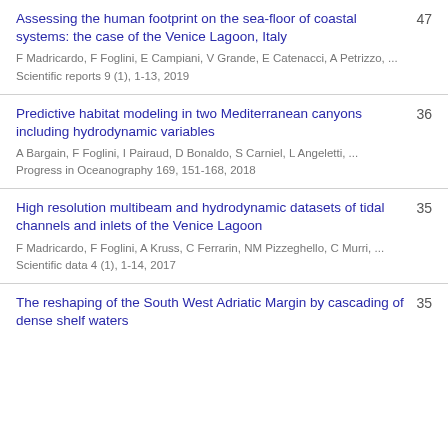Assessing the human footprint on the sea-floor of coastal systems: the case of the Venice Lagoon, Italy
F Madricardo, F Foglini, E Campiani, V Grande, E Catenacci, A Petrizzo, ...
Scientific reports 9 (1), 1-13, 2019
47
Predictive habitat modeling in two Mediterranean canyons including hydrodynamic variables
A Bargain, F Foglini, I Pairaud, D Bonaldo, S Carniel, L Angeletti, ...
Progress in Oceanography 169, 151-168, 2018
36
High resolution multibeam and hydrodynamic datasets of tidal channels and inlets of the Venice Lagoon
F Madricardo, F Foglini, A Kruss, C Ferrarin, NM Pizzeghello, C Murri, ...
Scientific data 4 (1), 1-14, 2017
35
The reshaping of the South West Adriatic Margin by cascading of dense shelf waters
35